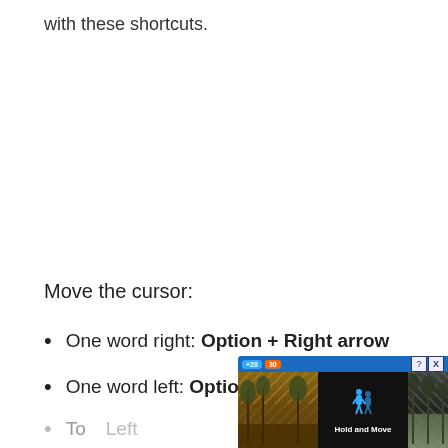with these shortcuts.
Move the cursor:
One word right: Option + Right arrow
One word left: Option + Left arrow
To ... Left
[Figure (screenshot): Advertisement overlay showing a game ad 'Hold and Move' with a dark background, outdoor photo, blue icon, and close/help buttons in top-right corner.]